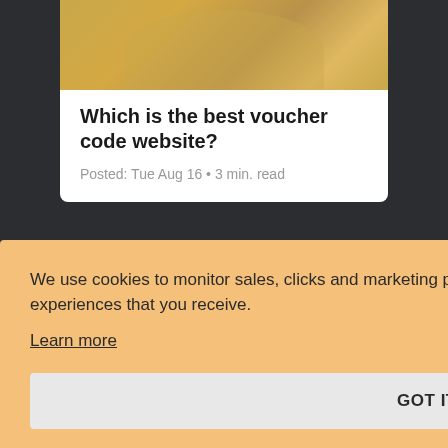[Figure (photo): Photo of hands holding gold coins, partially visible at top of card]
Which is the best voucher code website?
Posted: Tue Aug 16 • 3 min. read
We use cookies to monitor sales, clicks and marketing performance as well as to optimise & improve the experiences that you receive.
Learn more
GOT IT!